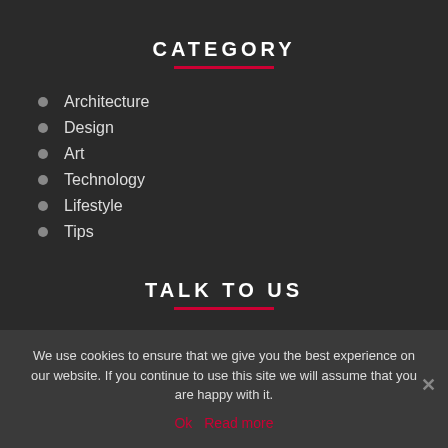CATEGORY
Architecture
Design
Art
Technology
Lifestyle
Tips
TALK TO US
We use cookies to ensure that we give you the best experience on our website. If you continue to use this site we will assume that you are happy with it.
Ok  Read more